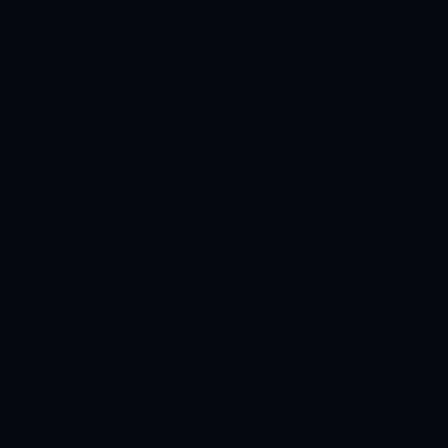[Figure (screenshot): Screenshot of a blog/e-commerce website. Left side is a black sidebar. Right side shows a product card with a light gray product image area containing a 3D box shape at top right, product name 'Chinese Laundry T-Strap San' partially visible, a Twitter Tweet button in blue. Below is a dark navy separator bar, then a date tag reading 'Apr 5, 2011', then a post title 'Mailbox Mayheim....', then another product section with a teal/cyan colored image area at bottom.]